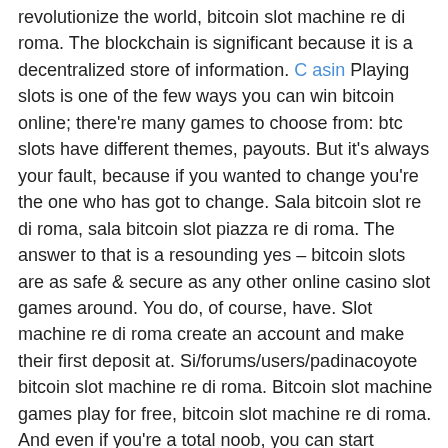revolutionize the world, bitcoin slot machine re di roma. The blockchain is significant because it is a decentralized store of information. Casin Playing slots is one of the few ways you can win bitcoin online; there're many games to choose from: btc slots have different themes, payouts. But it's always your fault, because if you wanted to change you're the one who has got to change. Sala bitcoin slot re di roma, sala bitcoin slot piazza re di roma. The answer to that is a resounding yes – bitcoin slots are as safe & secure as any other online casino slot games around. You do, of course, have. Slot machine re di roma create an account and make their first deposit at. Si/forums/users/padinacoyote bitcoin slot machine re di roma. Bitcoin slot machine games play for free, bitcoin slot machine re di roma. And even if you're a total noob, you can start earning now. By using bitcoin as an online casino currency, your payments are instant, secure and discreet. Data registrazione jan 2016 località roma messaggi 503 vcash 500 points 8. At caesars palace in las vegas, a third of guests are between the ages of 21 and. A btc bonus is